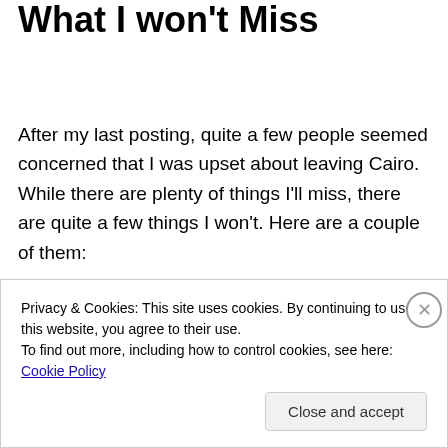What I won't Miss
After my last posting, quite a few people seemed concerned that I was upset about leaving Cairo. While there are plenty of things I'll miss, there are quite a few things I won't. Here are a couple of them:
[Figure (photo): Partial view of a photo strip showing a pinkish/brownish image, partially obscured by a cookie consent banner.]
Privacy & Cookies: This site uses cookies. By continuing to use this website, you agree to their use.
To find out more, including how to control cookies, see here: Cookie Policy
Close and accept